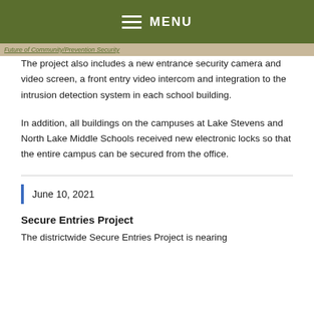MENU
[Figure (photo): Partially visible image strip with caption text in green italic]
The project also includes a new entrance security camera and video screen, a front entry video intercom and integration to the intrusion detection system in each school building.
In addition, all buildings on the campuses at Lake Stevens and North Lake Middle Schools received new electronic locks so that the entire campus can be secured from the office.
June 10, 2021
Secure Entries Project
The districtwide Secure Entries Project is nearing